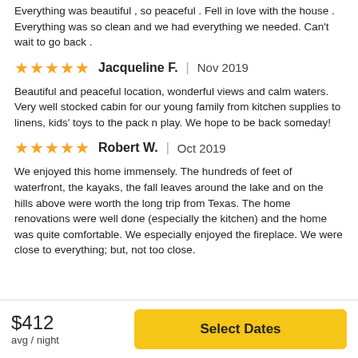Everything was beautiful , so peaceful . Fell in love with the house . Everything was so clean and we had everything we needed. Can't wait to go back .
★★★★★ Jacqueline F. | Nov 2019
Beautiful and peaceful location, wonderful views and calm waters. Very well stocked cabin for our young family from kitchen supplies to linens, kids' toys to the pack n play. We hope to be back someday!
★★★★★ Robert W. | Oct 2019
We enjoyed this home immensely. The hundreds of feet of waterfront, the kayaks, the fall leaves around the lake and on the hills above were worth the long trip from Texas. The home renovations were well done (especially the kitchen) and the home was quite comfortable. We especially enjoyed the fireplace. We were close to everything; but, not too close.
$412 avg / night
Select Dates